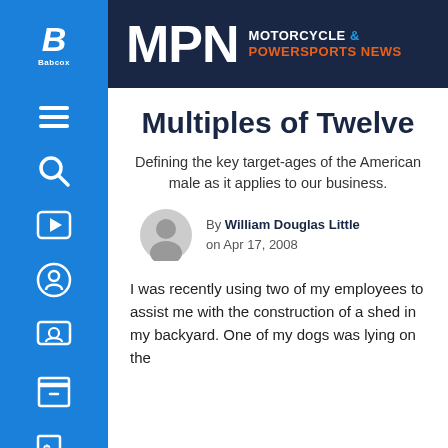MPN MOTORCYCLE & POWERSPORTS NEWS
Multiples of Twelve
Defining the key target-ages of the American male as it applies to our business.
By William Douglas Little on Apr 17, 2008
I was recently using two of my employees to assist me with the construction of a shed in my backyard. One of my dogs was lying on the